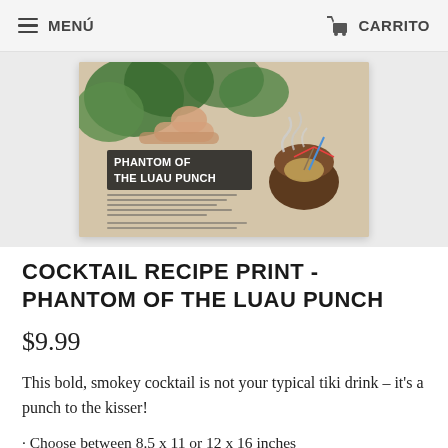MENÚ   CARRITO
[Figure (illustration): Vintage cocktail recipe print card on kraft/tan paper background. Shows comic-book style illustration of a tropical scene with a woman in jungle foliage. Title reads 'PHANTOM OF THE LUAU PUNCH' in bold letters. A coconut drink with smoke/steam is shown on the right side along with small text listing cocktail recipe ingredients.]
COCKTAIL RECIPE PRINT - PHANTOM OF THE LUAU PUNCH
$9.99
This bold, smokey cocktail is not your typical tiki drink – it's a punch to the kisser!
· Choose between 8.5 x 11 or 12 x 16 inches